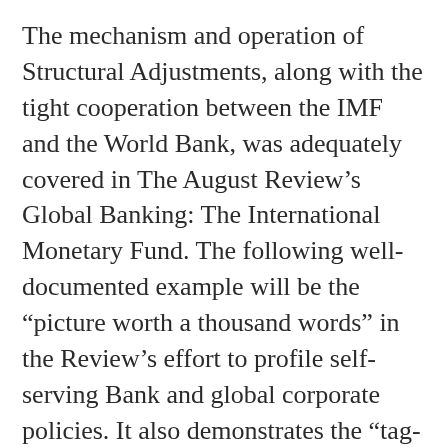The mechanism and operation of Structural Adjustments, along with the tight cooperation between the IMF and the World Bank, was adequately covered in The August Review's Global Banking: The International Monetary Fund. The following well-documented example will be the “picture worth a thousand words” in the Review’s effort to profile self-serving Bank and global corporate policies. It also demonstrates the “tag-team” approach used by the Bank and IMF in the prying open of closed markets in uncooperative countries. It’s a rather tangled story, but careful reading will produce understanding of how the “system” works.